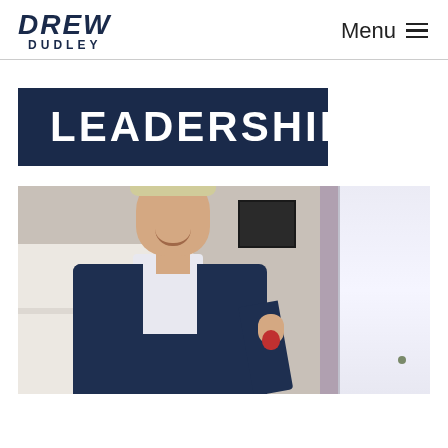DREW DUDLEY | Menu
LEADERSHIP
[Figure (photo): A woman with short blonde hair smiling, seated at a desk in an office setting with a cabinet and window in the background]